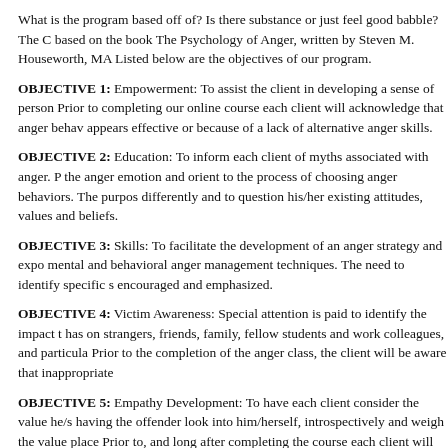What is the program based off of? Is there substance or just feel good babble? The C based on the book The Psychology of Anger, written by Steven M. Houseworth, MA Listed below are the objectives of our program.
OBJECTIVE 1: Empowerment: To assist the client in developing a sense of person Prior to completing our online course each client will acknowledge that anger behav appears effective or because of a lack of alternative anger skills.
OBJECTIVE 2: Education: To inform each client of myths associated with anger. P the anger emotion and orient to the process of choosing anger behaviors. The purpos differently and to question his/her existing attitudes, values and beliefs.
OBJECTIVE 3: Skills: To facilitate the development of an anger strategy and expo mental and behavioral anger management techniques. The need to identify specific s encouraged and emphasized.
OBJECTIVE 4: Victim Awareness: Special attention is paid to identify the impact t has on strangers, friends, family, fellow students and work colleagues, and particula Prior to the completion of the anger class, the client will be aware that inappropriate
OBJECTIVE 5: Empathy Development: To have each client consider the value he/s having the offender look into him/herself, introspectively and weigh the value place Prior to, and long after completing the course each client will question themselves